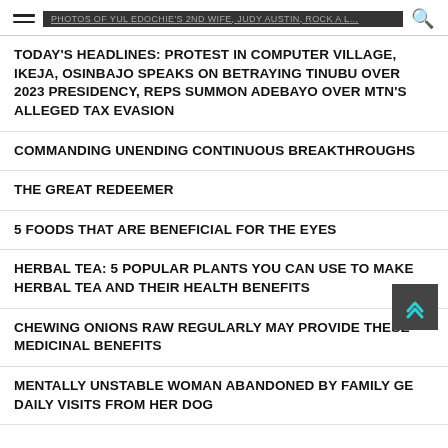PHOTOS OF YUL EDOCHIE'S 2ND WIFE, JUDY AUSTIN, ROCK A L…
TODAY'S HEADLINES: PROTEST IN COMPUTER VILLAGE, IKEJA, OSINBAJO SPEAKS ON BETRAYING TINUBU OVER 2023 PRESIDENCY, REPS SUMMON ADEBAYO OVER MTN'S ALLEGED TAX EVASION
COMMANDING UNENDING CONTINUOUS BREAKTHROUGHS
THE GREAT REDEEMER
5 FOODS THAT ARE BENEFICIAL FOR THE EYES
HERBAL TEA: 5 POPULAR PLANTS YOU CAN USE TO MAKE HERBAL TEA AND THEIR HEALTH BENEFITS
CHEWING ONIONS RAW REGULARLY MAY PROVIDE THESE MEDICINAL BENEFITS
MENTALLY UNSTABLE WOMAN ABANDONED BY FAMILY GETS DAILY VISITS FROM HER DOG